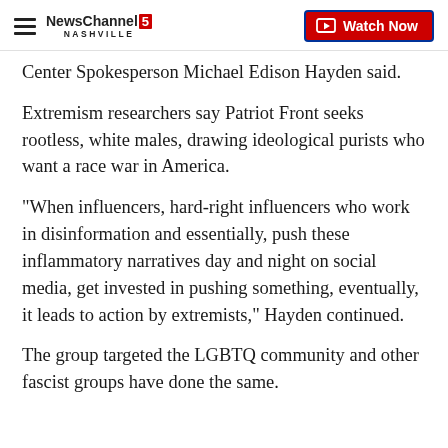NewsChannel 5 NASHVILLE | Watch Now
Center Spokesperson Michael Edison Hayden said.
Extremism researchers say Patriot Front seeks rootless, white males, drawing ideological purists who want a race war in America.
"When influencers, hard-right influencers who work in disinformation and essentially, push these inflammatory narratives day and night on social media, get invested in pushing something, eventually, it leads to action by extremists," Hayden continued.
The group targeted the LGBTQ community and other fascist groups have done the same.